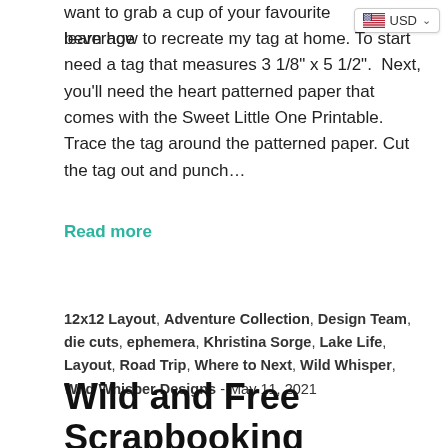want to grab a cup of your favourite beverage learn how to recreate my tag at home. To start need a tag that measures 3 1/8" x 5 1/2".  Next, you'll need the heart patterned paper that comes with the Sweet Little One Printable. Trace the tag around the patterned paper. Cut the tag out and punch…
Read more
12x12 Layout, Adventure Collection, Design Team, die cuts, ephemera, Khristina Sorge, Lake Life, Layout, Road Trip, Where to Next, Wild Whisper, Wild Whisper Designs - May 11, 2021
Wild and Free Scrapbooking Layout with Khristina